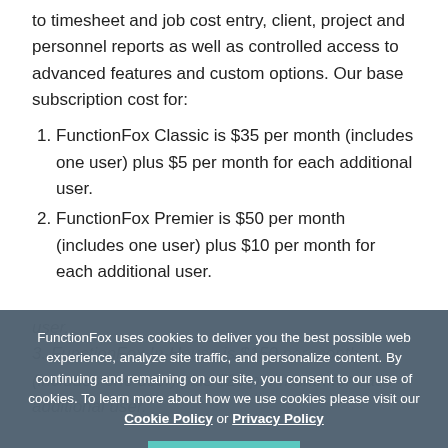to timesheet and job cost entry, client, project and personnel reports as well as controlled access to advanced features and custom options. Our base subscription cost for:
FunctionFox Classic is $35 per month (includes one user) plus $5 per month for each additional user.
FunctionFox Premier is $50 per month (includes one user) plus $10 per month for each additional user.
FunctionFox In-House is $150 per month (includes one user) plus $20 per month for each additional user.
See [text cut off] ...your number... billed in US dollars, unless otherw...
FunctionFox uses cookies to deliver you the best possible web experience, analyze site traffic, and personalize content. By continuing and remaining on our site, you consent to our use of cookies. To learn more about how we use cookies please visit our Cookie Policy or Privacy Policy
CONTINUE